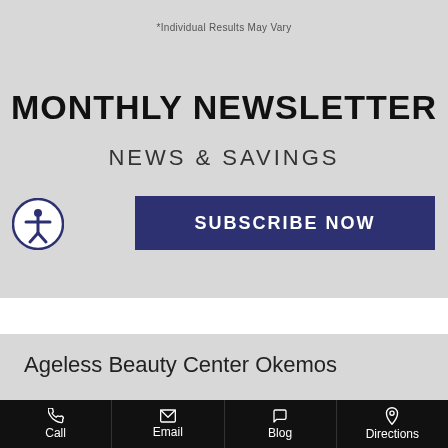*Individual Results May Vary
MONTHLY NEWSLETTER
NEWS & SAVINGS
SUBSCRIBE NOW
Ageless Beauty Center Okemos
Call | Email | Blog | Directions